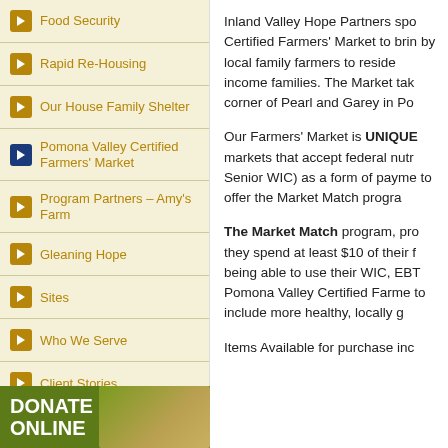Food Security
Rapid Re-Housing
Our House Family Shelter
Pomona Valley Certified Farmers' Market
Program Partners – Amy's Farm
Gleaning Hope
Sites
Who We Serve
Client Stories
Inland Valley Hope Partners spo Certified Farmers' Market to brin by local family farmers to reside income families. The Market tak corner of Pearl and Garey in Po
Our Farmers' Market is UNIQUE markets that accept federal nutr Senior WIC) as a form of payme to offer the Market Match progra
The Market Match program, pro they spend at least $10 of their f being able to use their WIC, EBT Pomona Valley Certified Farme to include more healthy, locally g
Items Available for purchase inc
[Figure (photo): Donate Online banner with green background and image of calculator/money]